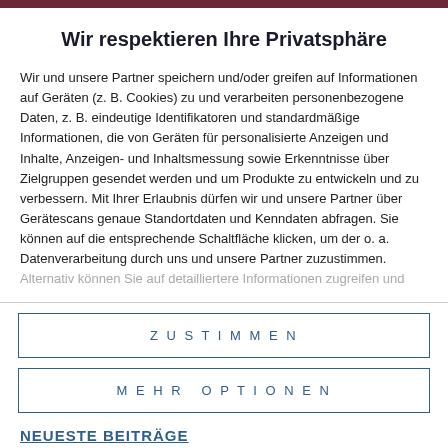Wir respektieren Ihre Privatsphäre
Wir und unsere Partner speichern und/oder greifen auf Informationen auf Geräten (z. B. Cookies) zu und verarbeiten personenbezogene Daten, z. B. eindeutige Identifikatoren und standardmäßige Informationen, die von Geräten für personalisierte Anzeigen und Inhalte, Anzeigen- und Inhaltsmessung sowie Erkenntnisse über Zielgruppen gesendet werden und um Produkte zu entwickeln und zu verbessern. Mit Ihrer Erlaubnis dürfen wir und unsere Partner über Gerätescans genaue Standortdaten und Kenndaten abfragen. Sie können auf die entsprechende Schaltfläche klicken, um der o. a. Datenverarbeitung durch uns und unsere Partner zuzustimmen.
Alternativ können Sie auf detailliertere Informationen zugreifen und
ZUSTIMMEN
MEHR OPTIONEN
NEUESTE BEITRÄGE